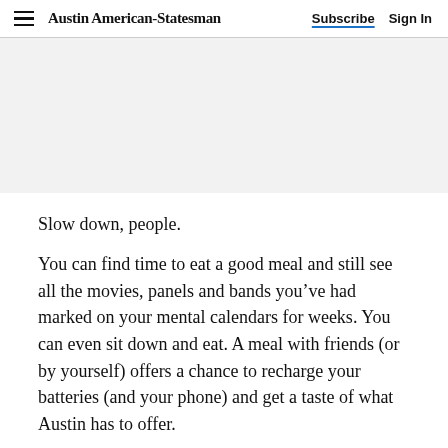Austin American-Statesman  Subscribe  Sign In
[Figure (other): Gray advertisement placeholder banner]
Slow down, people.
You can find time to eat a good meal and still see all the movies, panels and bands you’ve had marked on your mental calendars for weeks. You can even sit down and eat. A meal with friends (or by yourself) offers a chance to recharge your batteries (and your phone) and get a taste of what Austin has to offer.